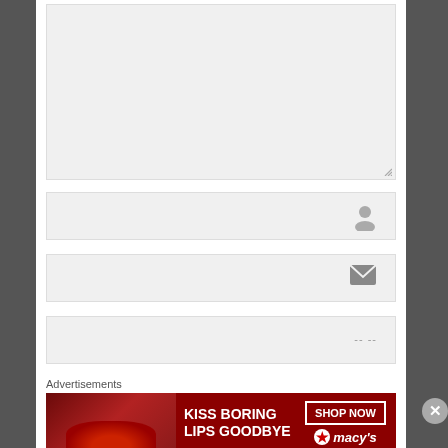[Figure (screenshot): A large grey textarea input box with a resize handle in the bottom-right corner]
[Figure (screenshot): A grey input field with a person/user icon on the right side, for entering a name]
[Figure (screenshot): A grey input field with an envelope/mail icon on the right side, for entering an email address]
[Figure (screenshot): A grey input field with a link/URL icon on the right side, for entering a website URL]
Advertisements
[Figure (photo): A Macy's advertisement banner with red background showing 'KISS BORING LIPS GOODBYE' text, a woman's face with red lips, and a 'SHOP NOW' button with the Macy's star logo]